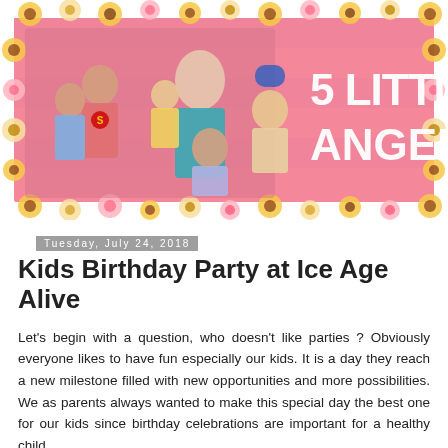[Figure (photo): Blog header banner for '5 Little Angels' showing a family photo with a mother and five children on a pink wooden plank background, surrounded by a border of yellow and pink flowers. Large white text reads '5 LITTLE ANGELS'.]
Tuesday, July 24, 2018
Kids Birthday Party at Ice Age Alive
Let's begin with a question, who doesn't like parties ? Obviously everyone likes to have fun especially our kids. It is a day they reach a new milestone filled with new opportunities and more possibilities. We as parents always wanted to make this special day the best one for our kids since birthday celebrations are important for a healthy child